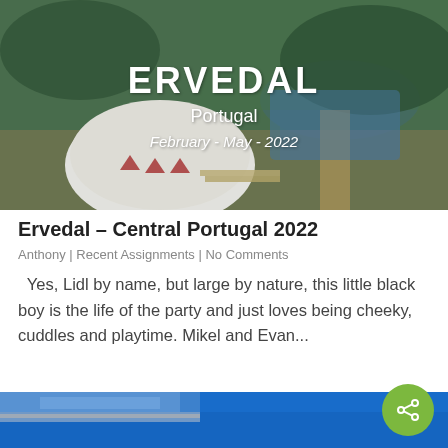[Figure (photo): Aerial view of a white geodesic dome glamping structure near a river surrounded by forested hills. Overlaid white text reads 'ERVEDAL', 'Portugal', 'February - May - 2022'.]
Ervedal – Central Portugal 2022
Anthony | Recent Assignments | No Comments
Yes, Lidl by name, but large by nature, this little black boy is the life of the party and just loves being cheeky, cuddles and playtime. Mikel and Evan...
[Figure (photo): Bottom portion of a second article image visible, showing a blue building or sign, partially cropped at page bottom.]